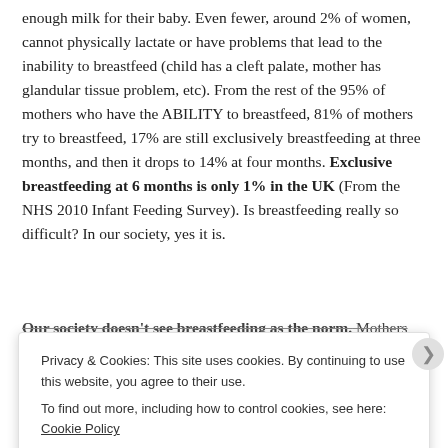enough milk for their baby. Even fewer, around 2% of women, cannot physically lactate or have problems that lead to the inability to breastfeed (child has a cleft palate, mother has glandular tissue problem, etc). From the rest of the 95% of mothers who have the ABILITY to breastfeed, 81% of mothers try to breastfeed, 17% are still exclusively breastfeeding at three months, and then it drops to 14% at four months. Exclusive breastfeeding at 6 months is only 1% in the UK (From the NHS 2010 Infant Feeding Survey). Is breastfeeding really so difficult? In our society, yes it is.
Our society doesn't see breastfeeding as the norm. Mothers
Privacy & Cookies: This site uses cookies. By continuing to use this website, you agree to their use. To find out more, including how to control cookies, see here: Cookie Policy